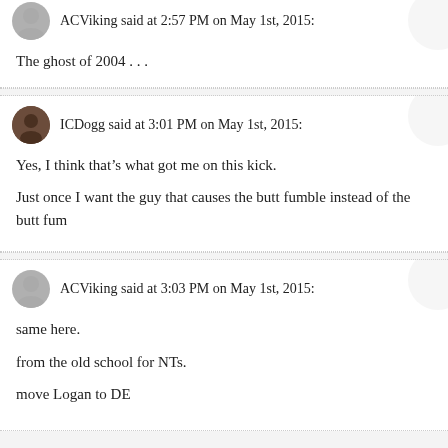ACViking said at 2:57 PM on May 1st, 2015:
The ghost of 2004 . . .
ICDogg said at 3:01 PM on May 1st, 2015:
Yes, I think that’s what got me on this kick.
Just once I want the guy that causes the butt fumble instead of the butt fum
ACViking said at 3:03 PM on May 1st, 2015:
same here.
from the old school for NTs.
move Logan to DE